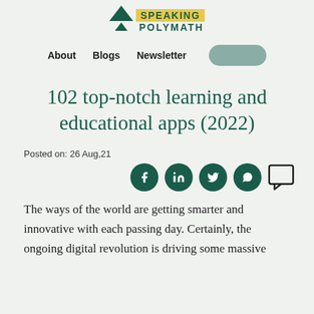SPEAKING POLYMATH
About   Blogs   Newsletter
102 top-notch learning and educational apps (2022)
Posted on: 26 Aug,21
[Figure (other): Social sharing icons: Facebook, LinkedIn, Twitter, WhatsApp, and a comment icon]
The ways of the world are getting smarter and innovative with each passing day. Certainly, the ongoing digital revolution is driving some massive